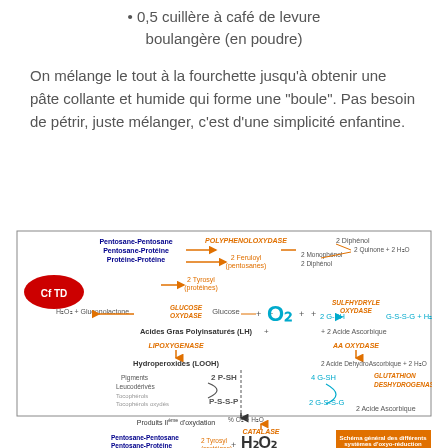0,5 cuillère à café de levure boulangère (en poudre)
On mélange le tout à la fourchette jusqu'à obtenir une pâte collante et humide qui forme une "boule". Pas besoin de pétrir, juste mélanger, c'est d'une simplicité enfantine.
[Figure (schematic): Schéma général des différents systèmes d'oxyo-réduction impliqués dans la fabrication du pain. Shows enzymatic reactions involving POLYPHENOLOXYDASE, GLUCOSE OXYDASE, SULFHYDRYLE OXYDASE, LIPOXYGENASE, AA OXYDASE, GLUTATHION DESHYDROGENASE, CATALASE with various substrates and products including O2, H2O2, G-SH, G-S-S-G, Glucose, Hydroperoxides, etc.]